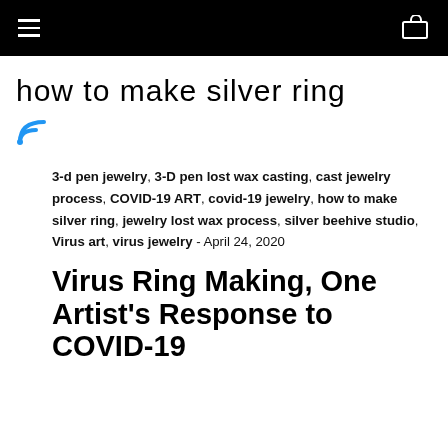[navigation bar with hamburger menu and cart icon]
how to make silver ring
[Figure (other): RSS feed icon in blue]
3-d pen jewelry, 3-D pen lost wax casting, cast jewelry process, COVID-19 ART, covid-19 jewelry, how to make silver ring, jewelry lost wax process, silver beehive studio, Virus art, virus jewelry - April 24, 2020
Virus Ring Making, One Artist's Response to COVID-19